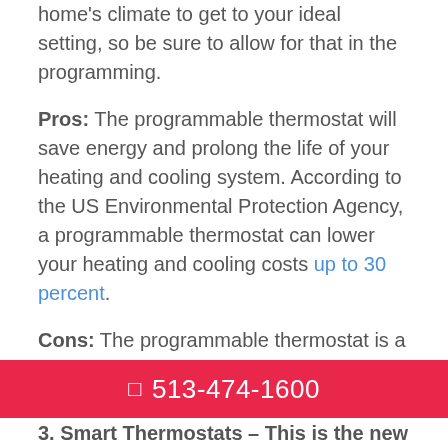home's climate to get to your ideal setting, so be sure to allow for that in the programming.
Pros: The programmable thermostat will save energy and prolong the life of your heating and cooling system. According to the US Environmental Protection Agency, a programmable thermostat can lower your heating and cooling costs up to 30 percent.
Cons: The programmable thermostat is a bit more expensive upfront compared to a standard model. Some may argue that starting and stopping your system is more
📱 513-474-1600
3. Smart Thermostats – This is the new